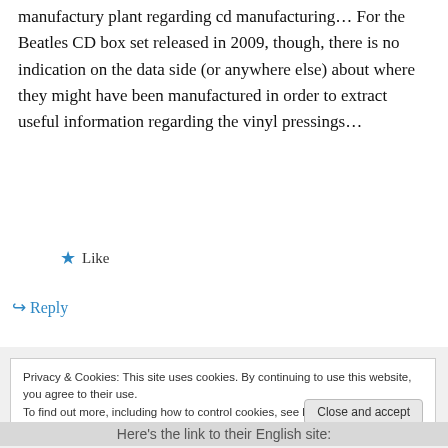manufactury plant regarding cd manufacturing... For the Beatles CD box set released in 2009, though, there is no indication on the data side (or anywhere else) about where they might have been manufactured in order to extract useful information regarding the vinyl pressings…
★ Like
↪ Reply
Privacy & Cookies: This site uses cookies. By continuing to use this website, you agree to their use. To find out more, including how to control cookies, see here: Cookie Policy
Close and accept
Here's the link to their English site: